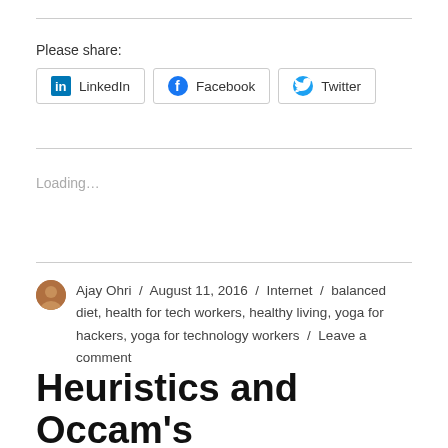Please share:
[Figure (infographic): Social share buttons for LinkedIn, Facebook, and Twitter]
Loading...
Ajay Ohri / August 11, 2016 / Internet / balanced diet, health for tech workers, healthy living, yoga for hackers, yoga for technology workers / Leave a comment
Heuristics and Occam's razor for Counter